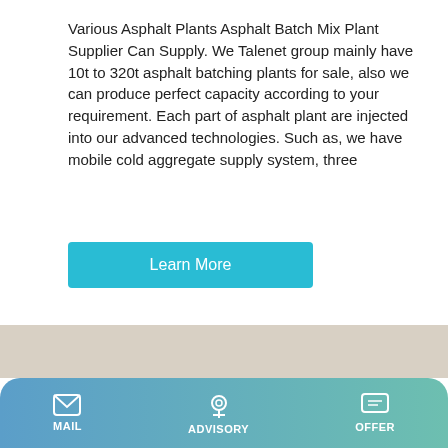Various Asphalt Plants Asphalt Batch Mix Plant Supplier Can Supply. We Talenet group mainly have 10t to 320t asphalt batching plants for sale, also we can produce perfect capacity according to your requirement. Each part of asphalt plant are injected into our advanced technologies. Such as, we have mobile cold aggregate supply system, three
Learn More
[Figure (photo): Photo of an asphalt batch mix plant mounted on a flatbed truck trailer, colored blue, parked in a yard with a red truck cab, with signage in Chinese on banners in the background.]
MAIL   ADVISORY   OFFER